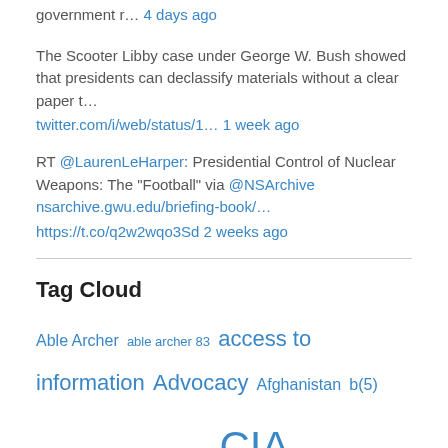government r… 4 days ago
The Scooter Libby case under George W. Bush showed that presidents can declassify materials without a clear paper t… twitter.com/i/web/status/1… 1 week ago
RT @LaurenLeHarper: Presidential Control of Nuclear Weapons: The "Football" via @NSArchive nsarchive.gwu.edu/briefing-book/… https://t.co/q2w2wqo3Sd 2 weeks ago
Tag Cloud
Able Archer able archer 83 access to information Advocacy Afghanistan b(5) Brazil Central America China CIA CIA torture report Cold War Colombia Cuba DEA dhs DNSA Document Friday Documents dod doj doj oip drones Edward Snowden El Salvador